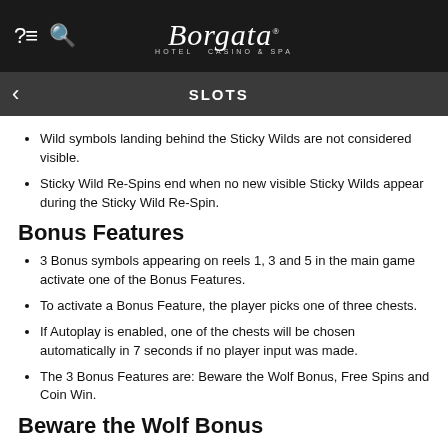Borgata Hotel Casino & Spa — SLOTS
Wild symbols landing behind the Sticky Wilds are not considered visible.
Sticky Wild Re-Spins end when no new visible Sticky Wilds appear during the Sticky Wild Re-Spin.
Bonus Features
3 Bonus symbols appearing on reels 1, 3 and 5 in the main game activate one of the Bonus Features.
To activate a Bonus Feature, the player picks one of three chests.
If Autoplay is enabled, one of the chests will be chosen automatically in 7 seconds if no player input was made.
The 3 Bonus Features are: Beware the Wolf Bonus, Free Spins and Coin Win.
Beware the Wolf Bonus
When the Beware the Wolf Bonus is activated, the player is awarded a